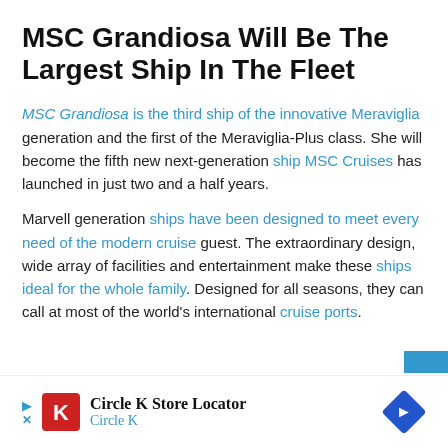MSC Grandiosa Will Be The Largest Ship In The Fleet
MSC Grandiosa is the third ship of the innovative Meraviglia generation and the first of the Meraviglia-Plus class. She will become the fifth new next-generation ship MSC Cruises has launched in just two and a half years.
Marvell generation ships have been designed to meet every need of the modern cruise guest. The extraordinary design, wide array of facilities and entertainment make these ships ideal for the whole family. Designed for all seasons, they can call at most of the world's international cruise ports.
[Figure (infographic): Circle K Store Locator advertisement banner with Circle K logo, navigation arrow icon, play button, and close button]